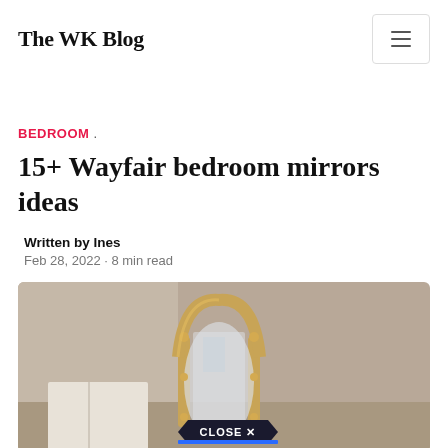The WK Blog
BEDROOM .
15+ Wayfair bedroom mirrors ideas
Written by Ines
Feb 28, 2022 · 8 min read
[Figure (photo): A gold-framed arch/oval shaped mirror leaning against a beige-toned wall, with a 'CLOSE X' badge overlay at the bottom center]